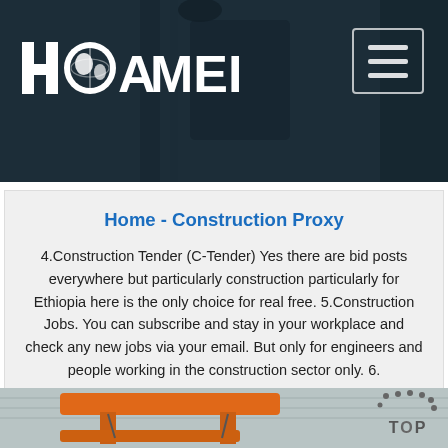[Figure (logo): HAOMEI company logo in white on dark teal header background with hamburger menu icon top right]
Home - Construction Proxy
4.Construction Tender (C-Tender) Yes there are bid posts everywhere but particularly construction particularly for Ethiopia here is the only choice for real free. 5.Construction Jobs. You can subscribe and stay in your workplace and check any new jobs via your email. But only for engineers and people working in the construction sector only. 6.
Get Price
[Figure (photo): Orange scissor lift / elevated work platform inside an industrial warehouse building]